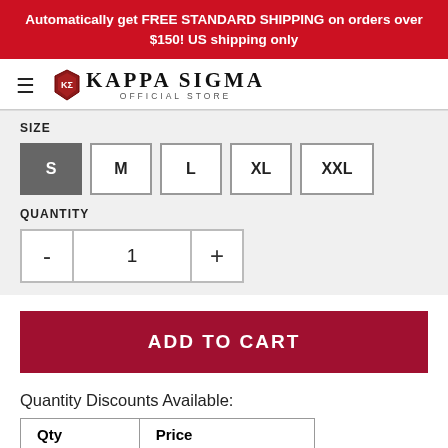Automatically get FREE STANDARD SHIPPING on orders over $150! US shipping only
[Figure (logo): Kappa Sigma Official Store logo with shield emblem, hamburger menu icon]
SIZE
S  M  L  XL  XXL
QUANTITY
- 1 +
ADD TO CART
Quantity Discounts Available:
| Qty | Price |
| --- | --- |
| Buy 5 - 9 | for $31.30 each |